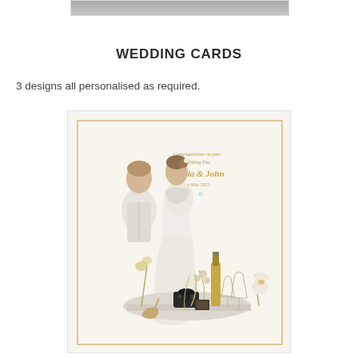[Figure (photo): Partial top image of a product or scene, cropped at the top of the page]
WEDDING CARDS
3 designs all personalised as required.
[Figure (illustration): A wedding card featuring an illustrated bride and groom standing together viewed from behind, with decorative elements including flowers, a champagne bottle, glasses, shoes, and a telephone on a table. Cursive personalised text in gold on the upper right reading 'Congratulations on your Wedding Day [Names] on [Date]'. The card has a cream/ivory background with a gold border.]